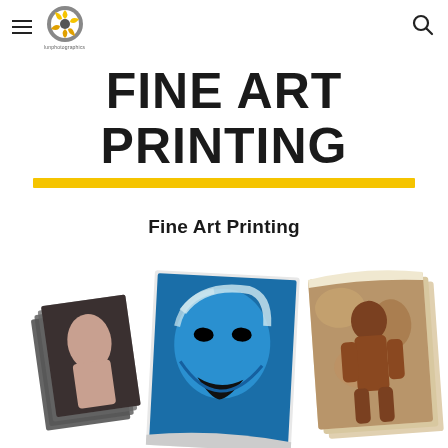lunphotographics logo and navigation
FINE ART PRINTING
Fine Art Printing
[Figure (photo): Stack of fine art prints showing colorful artwork including a blue Marilyn Monroe pop art print and prints of a muscular figure, fanned out and curling at corners]